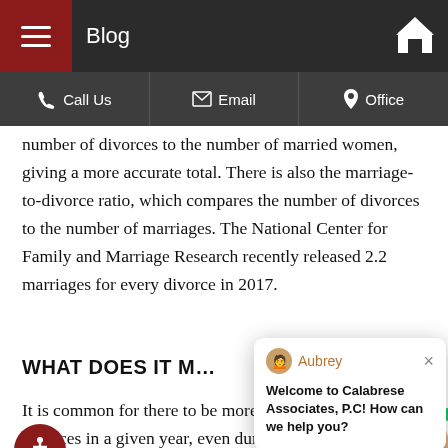Blog
number of divorces to the number of married women, giving a more accurate total. There is also the marriage-to-divorce ratio, which compares the number of divorces to the number of marriages. The National Center for Family and Marriage Research recently released 2.2 marriages for every divorce in 2017.
WHAT DOES IT M…
It is common for there to be more marriages than divorces in a given year, even during periods when the divorce rate is considered high. The 2.2 marriage-to-divorce ratio is the highest that the National Center for Family and Marriage Research has